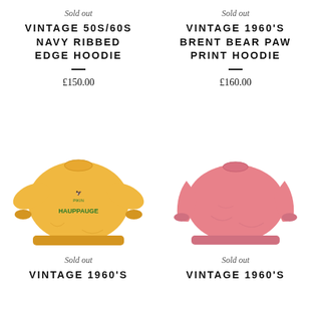Sold out
VINTAGE 50S/60S NAVY RIBBED EDGE HOODIE
£150.00
Sold out
VINTAGE 1960'S BRENT BEAR PAW PRINT HOODIE
£160.00
[Figure (photo): Yellow vintage sweatshirt with green 'HAUPPAUGE' graphic print on front]
[Figure (photo): Pink vintage crewneck sweatshirt, plain]
Sold out
VINTAGE 1960'S
Sold out
VINTAGE 1960'S